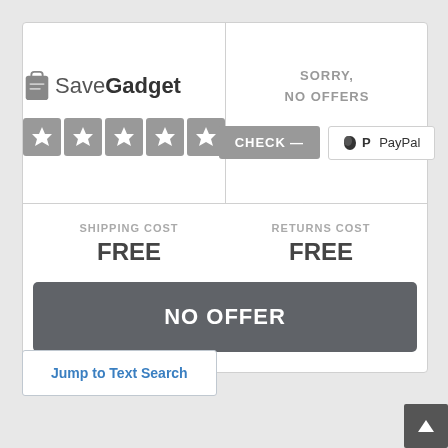[Figure (logo): SaveGadget logo with shopping bag icon and five grey star ratings]
SORRY,
NO OFFERS
CHECK — | PayPal
SHIPPING COST
FREE
RETURNS COST
FREE
NO OFFER
Jump to Text Search